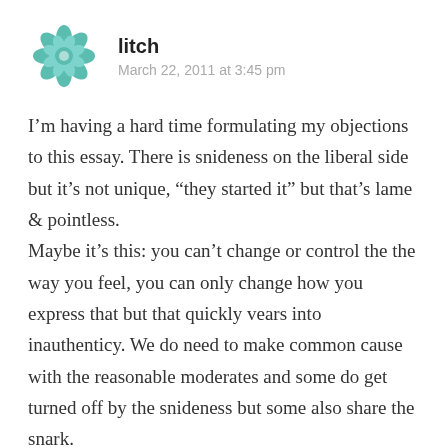[Figure (logo): Teal geometric floral/mandala avatar icon for user 'litch']
litch
March 22, 2011 at 3:45 pm
I'm having a hard time formulating my objections to this essay. There is snideness on the liberal side but it's not unique, “they started it” but that’s lame & pointless.
Maybe it’s this: you can’t change or control the the way you feel, you can only change how you express that but that quickly vears into inauthenticy. We do need to make common cause with the reasonable moderates and some do get turned off by the snideness but some also share the snark.
Jon Stewart has brought more moderates to the left